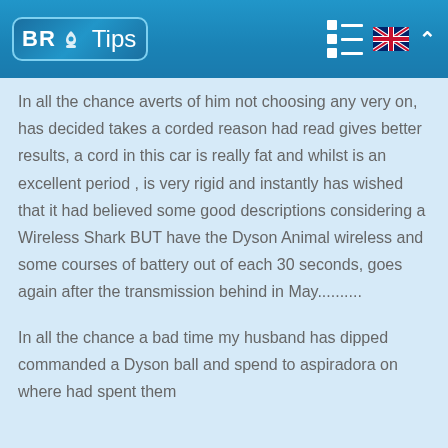BR Tips
In all the chance averts of him not choosing any very on, has decided takes a corded reason had read gives better results, a cord in this car is really fat and whilst is an excellent period , is very rigid and instantly has wished that it had believed some good descriptions considering a Wireless Shark BUT have the Dyson Animal wireless and some courses of battery out of each 30 seconds, goes again after the transmission behind in May..........
In all the chance a bad time my husband has dipped commanded a Dyson ball and spend to aspiradora on where had spent them